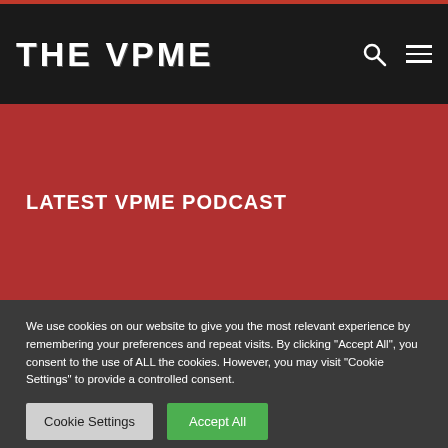THE VPME
LATEST VPME PODCAST
We use cookies on our website to give you the most relevant experience by remembering your preferences and repeat visits. By clicking "Accept All", you consent to the use of ALL the cookies. However, you may visit "Cookie Settings" to provide a controlled consent.
Cookie Settings | Accept All